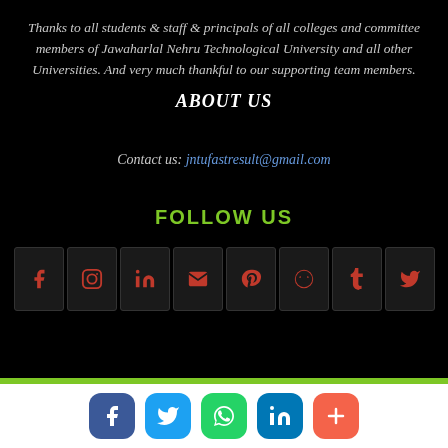Thanks to all students & staff & principals of all colleges and committee members of Jawaharlal Nehru Technological University and all other Universities. And very much thankful to our supporting team members.
ABOUT US
Contact us: jntufastresult@gmail.com
FOLLOW US
[Figure (infographic): Row of 8 social media icons (Facebook, Instagram, LinkedIn, Email, Pinterest, Reddit, Tumblr, Twitter) in dark square boxes with red icons]
[Figure (infographic): Bottom bar with 5 rounded social media share buttons: Facebook (blue), Twitter (light blue), WhatsApp (green), LinkedIn (dark blue), Plus/share (orange-red)]